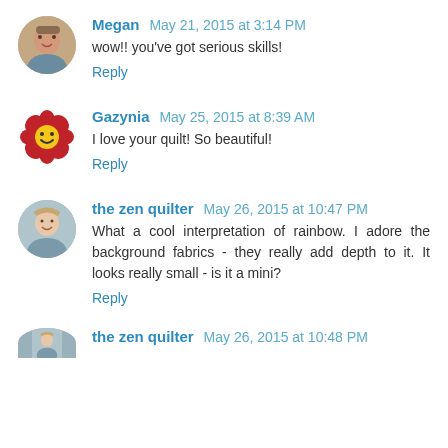Megan May 21, 2015 at 3:14 PM
wow!! you've got serious skills!
Reply
Gazynia May 25, 2015 at 8:39 AM
I love your quilt! So beautiful!
Reply
the zen quilter May 26, 2015 at 10:47 PM
What a cool interpretation of rainbow. I adore the background fabrics - they really add depth to it. It looks really small - is it a mini?
Reply
the zen quilter May 26, 2015 at 10:48 PM